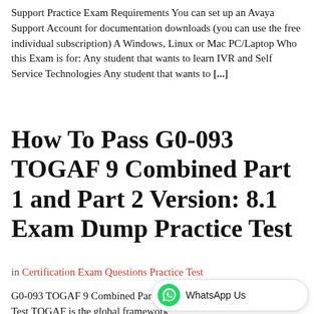Support Practice Exam Requirements You can set up an Avaya Support Account for documentation downloads (you can use the free individual subscription) A Windows, Linux or Mac PC/Laptop Who this Exam is for: Any student that wants to learn IVR and Self Service Technologies Any student that wants to [...]
How To Pass G0-093 TOGAF 9 Combined Part 1 and Part 2 Version: 8.1 Exam Dump Practice Test
in Certification Exam Questions Practice Test
G0-093 TOGAF 9 Combined Part 1 and Part 2 Exam Dump Practice Test TOGAF is the global framework